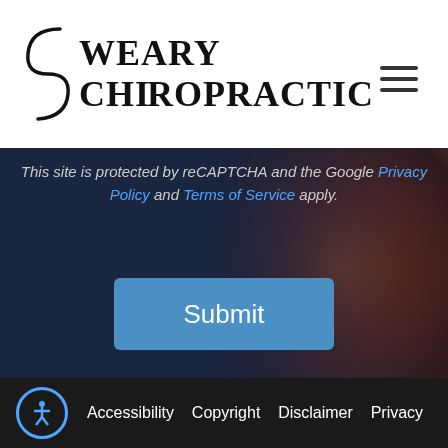WEARY CHIROPRACTIC
This site is protected by reCAPTCHA and the Google Privacy Policy and Terms of Service apply.
Submit
Accessibility  Copyright  Disclaimer  Privacy